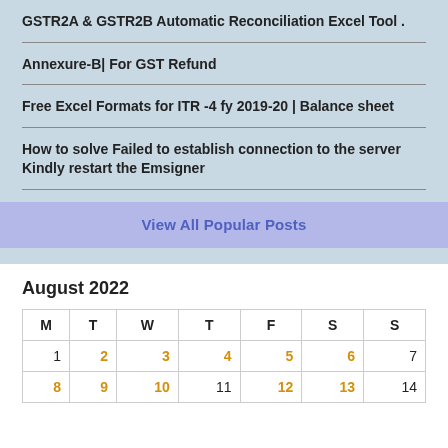GSTR2A & GSTR2B Automatic Reconciliation Excel Tool .
Annexure-B| For GST Refund
Free Excel Formats for ITR -4 fy 2019-20 | Balance sheet
How to solve Failed to establish connection to the server Kindly restart the Emsigner
View All Popular Posts
August 2022
| M | T | W | T | F | S | S |
| --- | --- | --- | --- | --- | --- | --- |
| 1 | 2 | 3 | 4 | 5 | 6 | 7 |
| 8 | 9 | 10 | 11 | 12 | 13 | 14 |